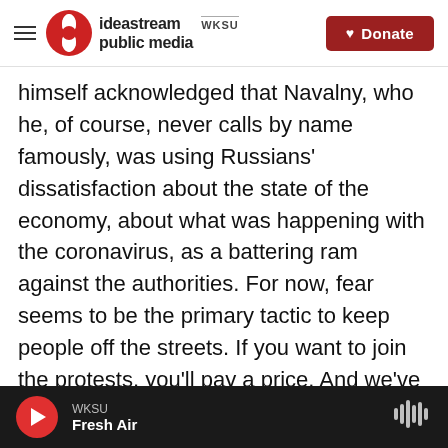ideastream public media | WKSU | Donate
himself acknowledged that Navalny, who he, of course, never calls by name famously, was using Russians' dissatisfaction about the state of the economy, about what was happening with the coronavirus, as a battering ram against the authorities. For now, fear seems to be the primary tactic to keep people off the streets. If you want to join the protests, you'll pay a price. And we've certainly seen echoes of the Soviet Union's approach to dissent in recent weeks - people fired from their jobs or expelled from universities. But, you know, in the end, Sunday was pretty quiet, just a few arrests. In fact, some people noted that their
WKSU | Fresh Air